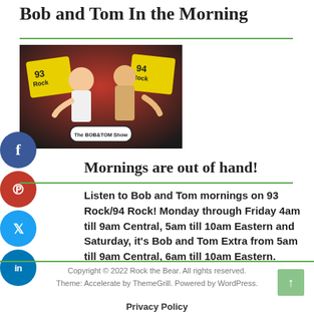Bob and Tom In the Morning
[Figure (illustration): Bob and Tom Show cartoon illustration with two cartoon characters on a red background with '93 Rock' and '94 Rock' logos and The Bob & Tom Show logo at the bottom]
Mornings are out of hand!
Listen to Bob and Tom mornings on 93 Rock/94 Rock! Monday through Friday 4am till 9am Central, 5am till 10am Eastern and Saturday, it's Bob and Tom Extra from 5am till 9am Central, 6am till 10am Eastern.
Copyright © 2022 Rock the Bear. All rights reserved. Theme: Accelerate by ThemeGrill. Powered by WordPress.
Privacy Policy